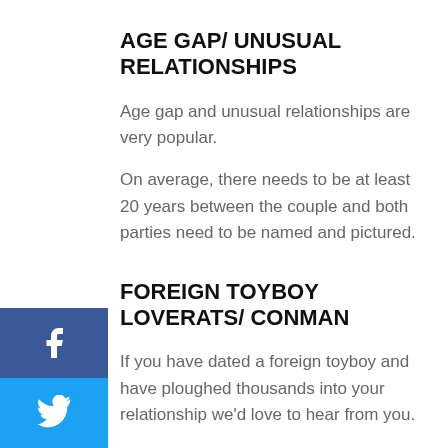AGE GAP/ UNUSUAL RELATIONSHIPS
Age gap and unusual relationships are very popular.
On average, there needs to be at least 20 years between the couple and both parties need to be named and pictured.
FOREIGN TOYBOY LOVERATS/ CONMAN
If you have dated a foreign toyboy and have ploughed thousands into your relationship we'd love to hear from you.
We will need lots of pics of you together in